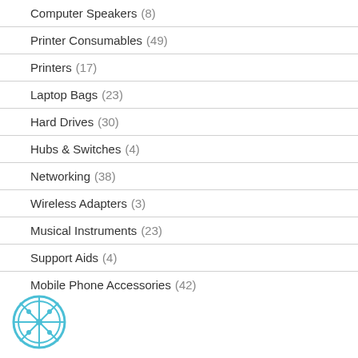Computer Speakers (8)
Printer Consumables (49)
Printers (17)
Laptop Bags (23)
Hard Drives (30)
Hubs & Switches (4)
Networking (38)
Wireless Adapters (3)
Musical Instruments (23)
Support Aids (4)
Mobile Phone Accessories (42)
[Figure (illustration): Cookie/film reel icon in cyan/light blue color, bottom left corner]